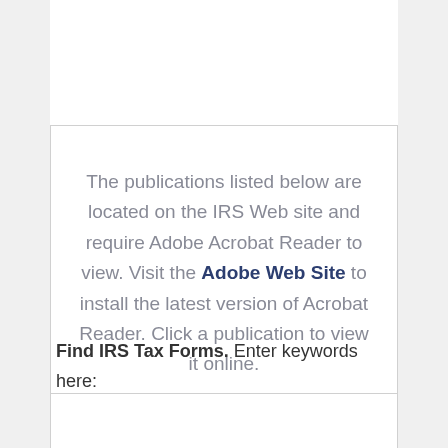The publications listed below are located on the IRS Web site and require Adobe Acrobat Reader to view. Visit the Adobe Web Site to install the latest version of Acrobat Reader. Click a publication to view it online.
Find IRS Tax Forms. Enter keywords here: